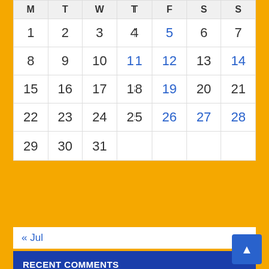| M | T | W | T | F | S | S |
| --- | --- | --- | --- | --- | --- | --- |
| 1 | 2 | 3 | 4 | 5 | 6 | 7 |
| 8 | 9 | 10 | 11 | 12 | 13 | 14 |
| 15 | 16 | 17 | 18 | 19 | 20 | 21 |
| 22 | 23 | 24 | 25 | 26 | 27 | 28 |
| 29 | 30 | 31 |  |  |  |  |
« Jul
RECENT COMMENTS
BOTVOLR on Meraki Coffee + Market – Albuquerque, New Mexico